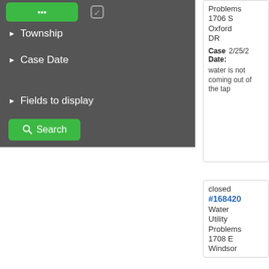[Figure (screenshot): Green button (collapsed filter panel) at top left of dark sidebar]
Township
Case Date
Fields to display
[Figure (screenshot): Green Search button with magnifying glass icon]
Problems 1706 S Oxford DR
Case Date: 2/25/2
water is not coming out of the tap
closed
#168420
Water Utility Problems 1708 E Windsor